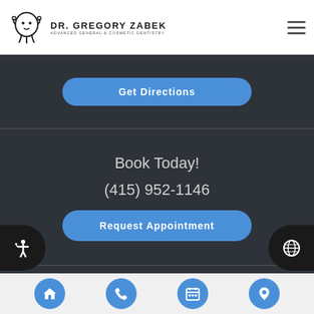[Figure (logo): Dr. Gregory Zabek logo with tooth icon and text 'ADVANCED GENERAL & COSMETIC DENTISTRY']
Get Directions
Book Today!
(415) 952-1146
Request Appointment
Comments or
[Figure (infographic): Bottom navigation bar with home, phone, calendar, and location icons in blue circles]